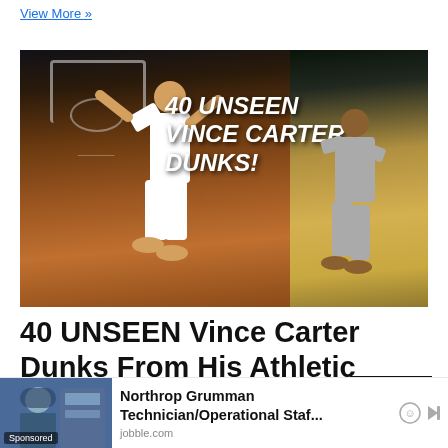View More »
[Figure (photo): Basketball thumbnail showing Vince Carter dunking on the left side in a white jersey with text '40 UNSEEN VINCE CARTER DUNKS!' overlaid, and another player driving on the right side on a yellow court.]
40 UNSEEN Vince Carter Dunks From His Athletic Prime!
TOP
[Figure (photo): Sponsored ad thumbnail showing a person in a hijab in a building setting.]
Northrop Grumman Technician/Operational Staf...
jobble.com